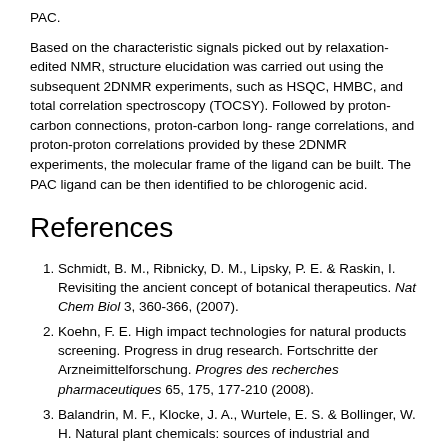PAC.
Based on the characteristic signals picked out by relaxation-edited NMR, structure elucidation was carried out using the subsequent 2DNMR experiments, such as HSQC, HMBC, and total correlation spectroscopy (TOCSY). Followed by proton-carbon connections, proton-carbon long-range correlations, and proton-proton correlations provided by these 2DNMR experiments, the molecular frame of the ligand can be built. The PAC ligand can be then identified to be chlorogenic acid.
References
Schmidt, B. M., Ribnicky, D. M., Lipsky, P. E. & Raskin, I. Revisiting the ancient concept of botanical therapeutics. Nat Chem Biol 3, 360-366, (2007).
Koehn, F. E. High impact technologies for natural products screening. Progress in drug research. Fortschritte der Arzneimittelforschung. Progres des recherches pharmaceutiques 65, 175, 177-210 (2008).
Balandrin, M. F., Klocke, J. A., Wurtele, E. S. & Bollinger, W. H. Natural plant chemicals: sources of industrial and medicinal materials. Science 228, 1154-1160 (1985).
Newman, D. J. & Cragg, G. M. Natural products as sources of new drugs over the last 25 years. J Nat Prod 70, 461-477, (2007).
Corson, T. W. & Crews, C. M. Molecular understanding and